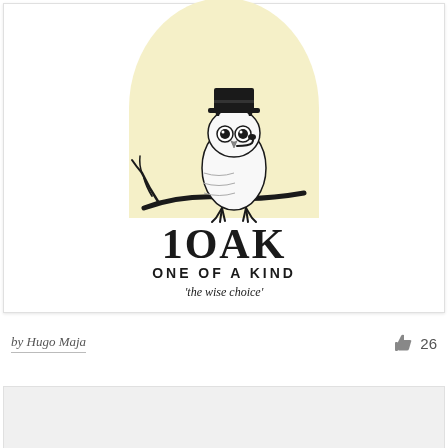[Figure (logo): 1OAK logo featuring an owl with a top hat perched on a branch, with a pale yellow semicircle background. Text reads '1OAK', 'ONE OF A KIND', and 'the wise choice'.]
by Hugo Maja
26